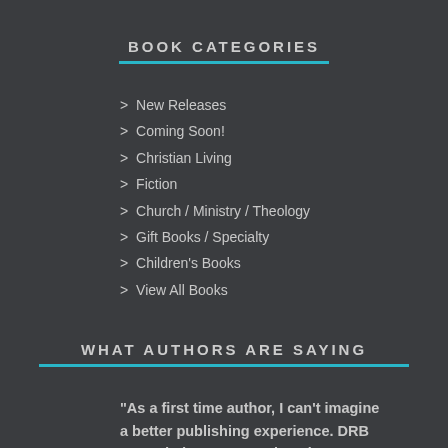BOOK CATEGORIES
> New Releases
> Coming Soon!
> Christian Living
> Fiction
> Church / Ministry / Theology
> Gift Books / Specialty
> Children's Books
> View All Books
WHAT AUTHORS ARE SAYING
"As a first time author, I can't imagine a better publishing experience. DRB exceeded my expectations in every area, especially: honest personal feedback and world class industry insight from Bill